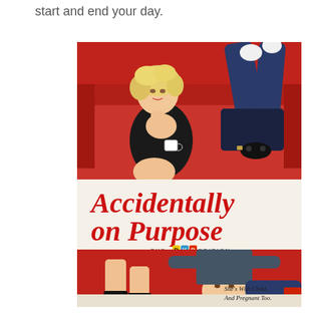start and end your day.
[Figure (photo): DVD cover for 'Accidentally on Purpose: The DVD Edition' showing a woman with blonde curly hair sitting on a red couch holding a coffee cup, and a man lying with legs over the couch back holding a game controller. Bottom half shows the man lying on floor looking up. Tagline reads 'She's With Child, And Pregnant Too.']